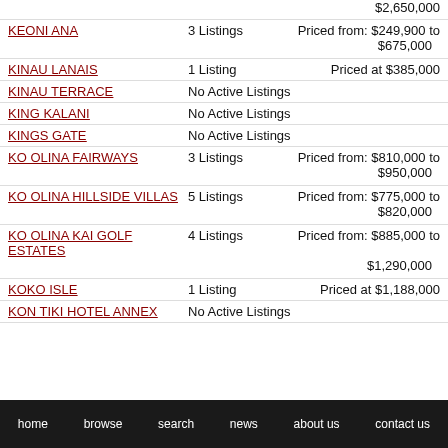KEONI ANA - 3 Listings - Priced from: $249,900 to $675,000
KINAU LANAIS - 1 Listing - Priced at $385,000
KINAU TERRACE - No Active Listings
KING KALANI - No Active Listings
KINGS GATE - No Active Listings
KO OLINA FAIRWAYS - 3 Listings - Priced from: $810,000 to $950,000
KO OLINA HILLSIDE VILLAS - 5 Listings - Priced from: $775,000 to $820,000
KO OLINA KAI GOLF ESTATES - 4 Listings - Priced from: $885,000 to $1,290,000
KOKO ISLE - 1 Listing - Priced at $1,188,000
KON TIKI HOTEL ANNEX - No Active Listings
home  browse  search  news  about us  contact us